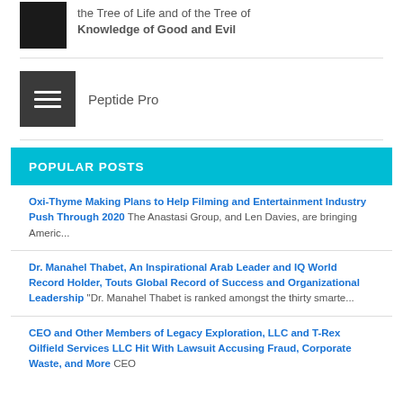the Tree of Life and of the Tree of Knowledge of Good and Evil
Peptide Pro
POPULAR POSTS
Oxi-Thyme Making Plans to Help Filming and Entertainment Industry Push Through 2020 The Anastasi Group, and Len Davies, are bringing Americ...
Dr. Manahel Thabet, An Inspirational Arab Leader and IQ World Record Holder, Touts Global Record of Success and Organizational Leadership "Dr. Manahel Thabet is ranked amongst the thirty smarte...
CEO and Other Members of Legacy Exploration, LLC and T-Rex Oilfield Services LLC Hit With Lawsuit Accusing Fraud, Corporate Waste, and More CEO